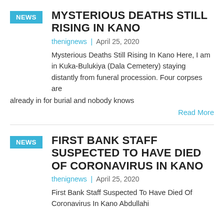MYSTERIOUS DEATHS STILL RISING IN KANO
thenignews  |  April 25, 2020
Mysterious Deaths Still Rising In Kano Here, I am in Kuka-Bulukiya (Dala Cemetery) staying distantly from funeral procession. Four corpses are already in for burial and nobody knows
Read More
FIRST BANK STAFF SUSPECTED TO HAVE DIED OF CORONAVIRUS IN KANO
thenignews  |  April 25, 2020
First Bank Staff Suspected To Have Died Of Coronavirus In Kano Abdullahi